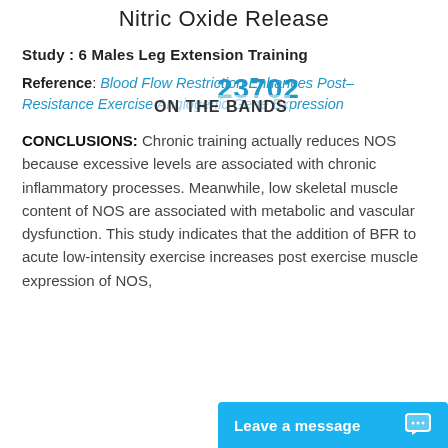Nitric Oxide Release
Study : 6 Males Leg Extension Training
Reference: Blood Flow Restriction Enhances Post–Resistance Exercise Angiogenic Gene Expression
CONCLUSIONS: Chronic training actually reduces NOS because excessive levels are associated with chronic inflammatory processes. Meanwhile, low skeletal muscle content of NOS are associated with metabolic and vascular dysfunction. This study indicates that the addition of BFR to acute low-intensity exercise increases post exercise muscle expression of NOS,
Leave a message